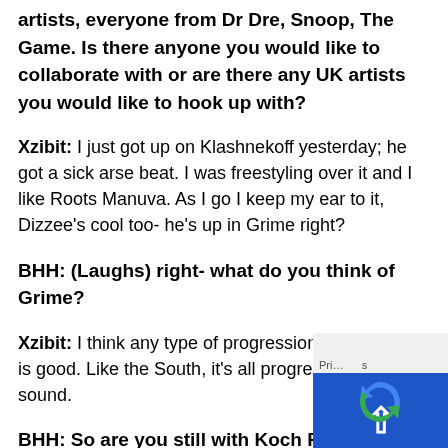BHH: You have collaborated with a host of artists, everyone from Dr Dre, Snoop, The Game. Is there anyone you would like to collaborate with or are there any UK artists you would like to hook up with?
Xzibit: I just got up on Klashnekoff yesterday; he got a sick arse beat. I was freestyling over it and I like Roots Manuva. As I go I keep my ear to it, Dizzee's cool too- he's up in Grime right?
BHH: (Laughs) right- what do you think of Grime?
Xzibit: I think any type of progression in the music is good. Like the South, it's all progression in the sound.
BHH: So are you still with Koch Records?